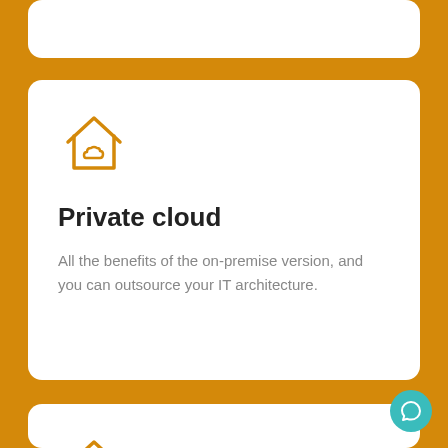[Figure (illustration): Partial white card at the top of the page (cut off), showing the bottom portion of a card above.]
[Figure (illustration): White rounded card with a private cloud icon (house outline with cloud inside, in orange), title 'Private cloud', and description text.]
Private cloud
All the benefits of the on-premise version, and you can outsource your IT architecture.
[Figure (illustration): Partial white card at the bottom showing an on-premise icon (house outline with server/database inside, in orange) and title 'On-premise'.]
On-premise